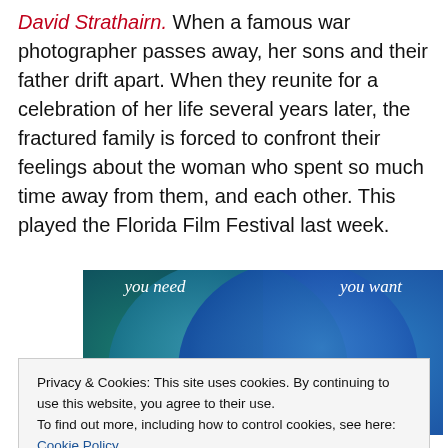David Strathairn. When a famous war photographer passes away, her sons and their father drift apart. When they reunite for a celebration of her life several years later, the fractured family is forced to confront their feelings about the woman who spent so much time away from them, and each other. This played the Florida Film Festival last week.
[Figure (illustration): A Venn diagram with two overlapping circles on a teal/blue gradient background. Left circle labeled 'you need', right circle labeled 'you want'. Partially cropped at bottom.]
Privacy & Cookies: This site uses cookies. By continuing to use this website, you agree to their use.
To find out more, including how to control cookies, see here: Cookie Policy